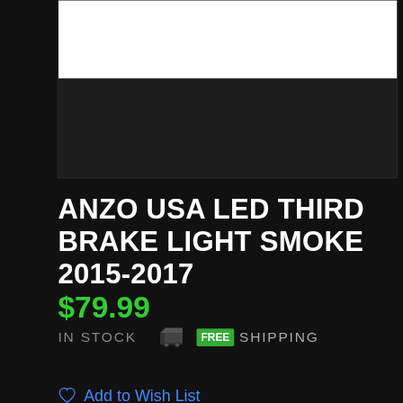[Figure (photo): Partial product image of ANZO USA LED Third Brake Light, showing bottom portion of product on dark background]
ANZO USA LED THIRD BRAKE LIGHT SMOKE 2015-2017
$79.99
IN STOCK  FREE SHIPPING
Add to Wish List
ADD TO CART